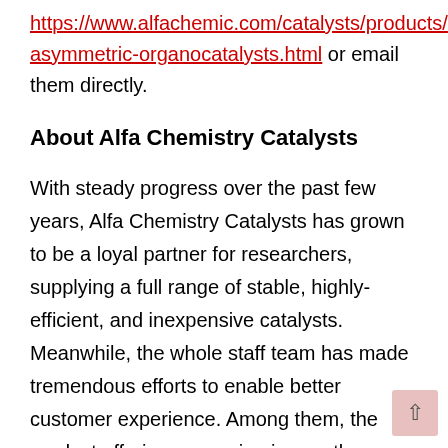https://www.alfachemic.com/catalysts/products/asymmetric-organocatalysts.html or email them directly.
About Alfa Chemistry Catalysts
With steady progress over the past few years, Alfa Chemistry Catalysts has grown to be a loyal partner for researchers, supplying a full range of stable, highly-efficient, and inexpensive catalysts. Meanwhile, the whole staff team has made tremendous efforts to enable better customer experience. Among them, the product offering expansion is exactly one necessary step to achieve this goal. Now the company offers chiral catalysts, ligands, metal catalysts, non-metal catalysts, guard catalysts, nano catalysts, phase transfer